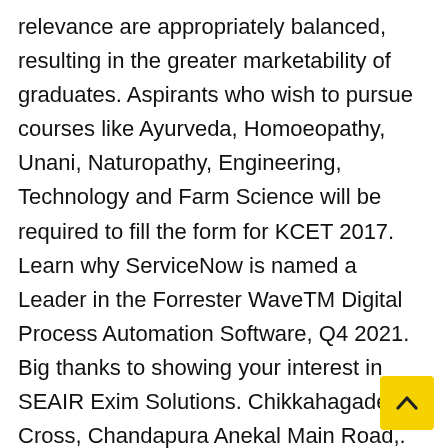relevance are appropriately balanced, resulting in the greater marketability of graduates. Aspirants who wish to pursue courses like Ayurveda, Homoeopathy, Unani, Naturopathy, Engineering, Technology and Farm Science will be required to fill the form for KCET 2017. Learn why ServiceNow is named a Leader in the Forrester WaveTM Digital Process Automation Software, Q4 2021. Big thanks to showing your interest in SEAIR Exim Solutions. Chikkahagade Cross, Chandapura Anekal Main Road,. And please don't spoil the university name so sir I'm requesting to u please refund my amount as soon as possibleYours
[Figure (other): Back-to-top button: yellow square with upward-pointing caret/arrow icon]